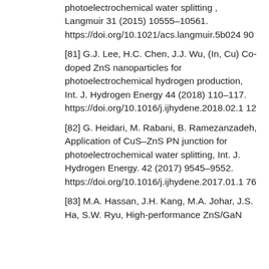photoelectrochemical water splitting , Langmuir 31 (2015) 10555–10561. https://doi.org/10.1021/acs.langmuir.5b02490
[81] G.J. Lee, H.C. Chen, J.J. Wu, (In, Cu) Co-doped ZnS nanoparticles for photoelectrochemical hydrogen production, Int. J. Hydrogen Energy 44 (2018) 110–117. https://doi.org/10.1016/j.ijhydene.2018.02.112
[82] G. Heidari, M. Rabani, B. Ramezanzadeh, Application of CuS–ZnS PN junction for photoelectrochemical water splitting, Int. J. Hydrogen Energy. 42 (2017) 9545–9552. https://doi.org/10.1016/j.ijhydene.2017.01.176
[83] M.A. Hassan, J.H. Kang, M.A. Johar, J.S. Ha, S.W. Ryu, High-performance ZnS/GaN heterojunction...